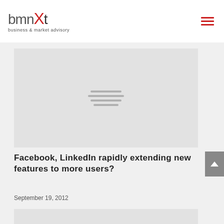[Figure (logo): bmnxt business & market advisory logo with red X element]
[Figure (photo): Large placeholder image with gray background and stacked lines icon in center]
Facebook, LinkedIn rapidly extending new features to more users?
September 19, 2012